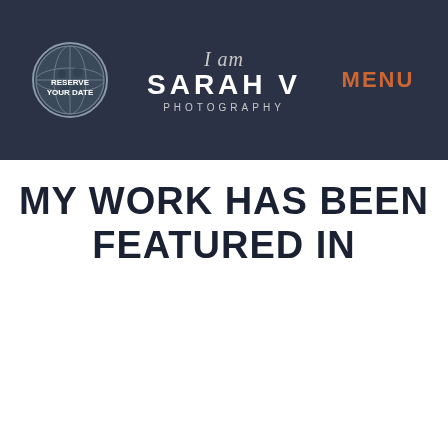RESERVE YOUR DATE | I am SARAH V PHOTOGRAPHY | MENU
MY WORK HAS BEEN FEATURED IN